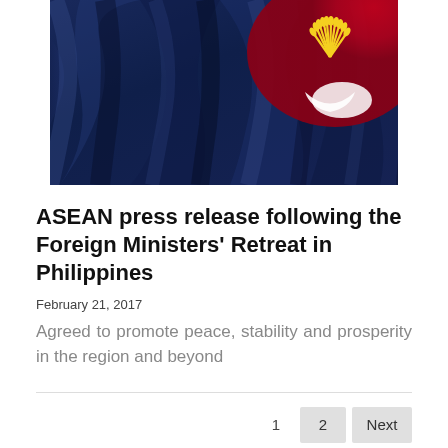[Figure (photo): ASEAN flag waving — dark navy blue silk fabric with red and yellow ASEAN emblem (sheaf of rice stalks circle) visible in upper right area of the flag.]
ASEAN press release following the Foreign Ministers' Retreat in Philippines
February 21, 2017
Agreed to promote peace, stability and prosperity in the region and beyond
1  2  Next